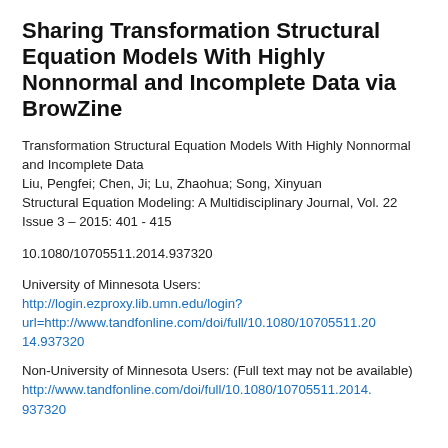Sharing Transformation Structural Equation Models With Highly Nonnormal and Incomplete Data via BrowZine
Transformation Structural Equation Models With Highly Nonnormal and Incomplete Data
Liu, Pengfei; Chen, Ji; Lu, Zhaohua; Song, Xinyuan
Structural Equation Modeling: A Multidisciplinary Journal, Vol. 22 Issue 3 – 2015: 401 - 415
10.1080/10705511.2014.937320
University of Minnesota Users:
http://login.ezproxy.lib.umn.edu/login?url=http://www.tandfonline.com/doi/full/10.1080/10705511.2014.937320
Non-University of Minnesota Users: (Full text may not be available)
http://www.tandfonline.com/doi/full/10.1080/10705511.2014.937320